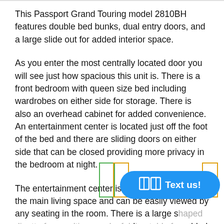This Passport Grand Touring model 2810BH features double bed bunks, dual entry doors, and a large slide out for added interior space.
As you enter the most centrally located door you will see just how spacious this unit is. There is a front bedroom with queen size bed including wardrobes on either side for storage. There is also an overhead cabinet for added convenience. An entertainment center is located just off the foot of the bed and there are sliding doors on either side that can be closed providing more privacy in the bedroom at night.
The entertainment center is centrally located in the main living space and can be easily viewed by any seating in the room. There is a large s[haped dinette for mealtime, and a fold] added seating, plus each can be quickly made into more sleeping space at night if needed. The sofa also
[Figure (screenshot): A blue rounded rectangle chat button overlay reading 'Text us!' with a book/chat icon, partially obscuring surrounding content. Behind it are faint rectangular outlines.]